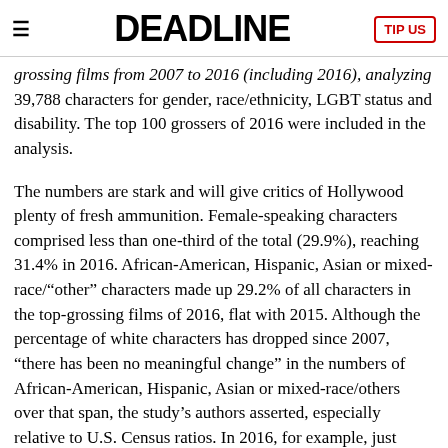DEADLINE | TIP US
grossing films from 2007 to 2016 (including 2016), analyzing 39,788 characters for gender, race/ethnicity, LGBT status and disability. The top 100 grossers of 2016 were included in the analysis.
The numbers are stark and will give critics of Hollywood plenty of fresh ammunition. Female-speaking characters comprised less than one-third of the total (29.9%), reaching 31.4% in 2016. African-American, Hispanic, Asian or mixed-race/“other” characters made up 29.2% of all characters in the top-grossing films of 2016, flat with 2015. Although the percentage of white characters has dropped since 2007, “there has been no meaningful change” in the numbers of African-American, Hispanic, Asian or mixed-race/others over that span, the study’s authors asserted, especially relative to U.S. Census ratios. In 2016, for example, just